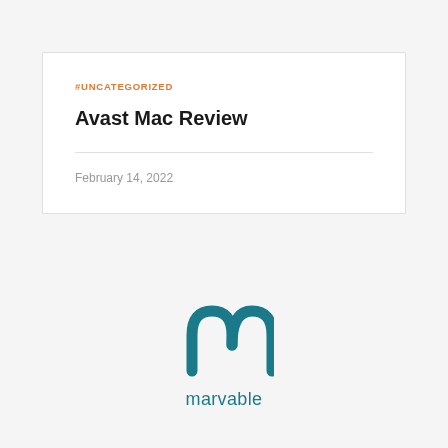#UNCATEGORIZED
Avast Mac Review
February 14, 2022
[Figure (logo): Marvable logo — stylized 'm' icon in teal above the word 'marvable' in teal lowercase text]